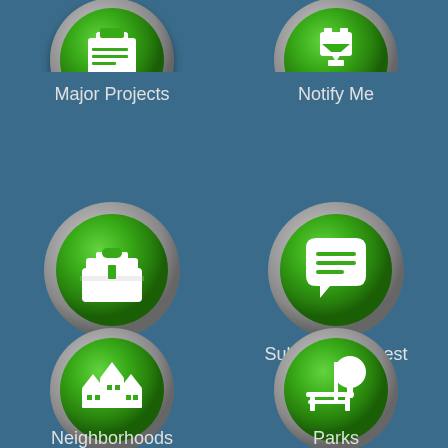[Figure (infographic): Six circular green icon buttons on a blue background arranged in a 2x3 grid. Top row (partially visible): Major Projects (clipboard/document icon), Notify Me (download/bell icon). Middle row: Jobs (toolbox icon), Submit a Request (speech bubble with lines icon). Bottom row: Neighborhoods (buildings/houses icon), Parks (bench and tree icon).]
Major Projects
Notify Me
Jobs
Submit a Request
Neighborhoods
Parks